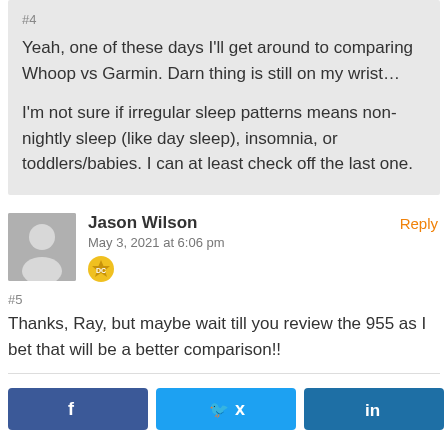#4
Yeah, one of these days I'll get around to comparing Whoop vs Garmin. Darn thing is still on my wrist…

I'm not sure if irregular sleep patterns means non-nightly sleep (like day sleep), insomnia, or toddlers/babies. I can at least check off the last one.
Jason Wilson
May 3, 2021 at 6:06 pm
#5
Thanks, Ray, but maybe wait till you review the 955 as I bet that will be a better comparison!!
Reply